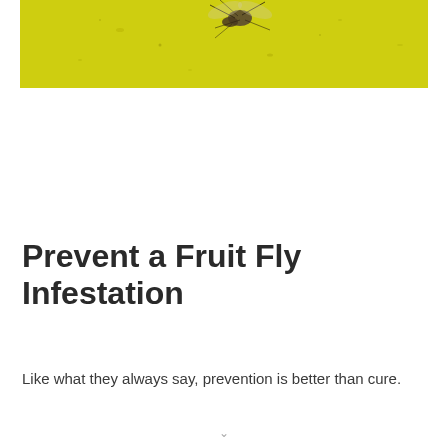[Figure (photo): Close-up photo of a fruit fly stuck on a yellow sticky trap surface, with the yellow background visible prominently.]
Prevent a Fruit Fly Infestation
Like what they always say, prevention is better than cure.